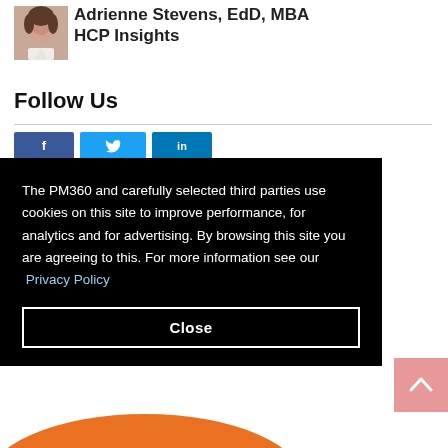[Figure (photo): Portrait photo of Adrienne Stevens, a woman with short dark hair wearing a white top]
Adrienne Stevens, EdD, MBA
HCP Insights
Follow Us
[Figure (illustration): Three social media buttons: Facebook (dark blue), Twitter (light blue), LinkedIn (blue)]
The PM360 and carefully selected third parties use cookies on this site to improve performance, for analytics and for advertising. By browsing this site you are agreeing to this. For more information see our Privacy Policy
Close
[Figure (illustration): Pink back-to-top button with upward chevron arrow]
[Figure (illustration): Orange arc/swirl graphic at the bottom of the page]